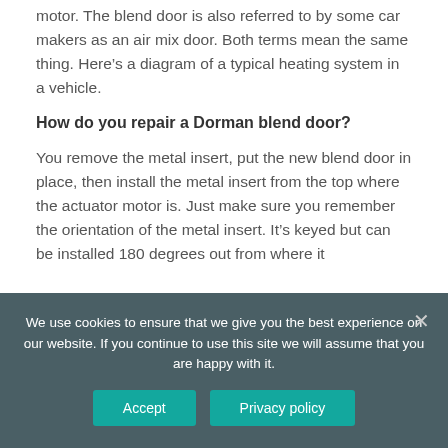motor. The blend door is also referred to by some car makers as an air mix door. Both terms mean the same thing. Here's a diagram of a typical heating system in a vehicle.
How do you repair a Dorman blend door?
You remove the metal insert, put the new blend door in place, then install the metal insert from the top where the actuator motor is. Just make sure you remember the orientation of the metal insert. It's keyed but can be installed 180 degrees out from where it
We use cookies to ensure that we give you the best experience on our website. If you continue to use this site we will assume that you are happy with it.
Accept
Privacy policy